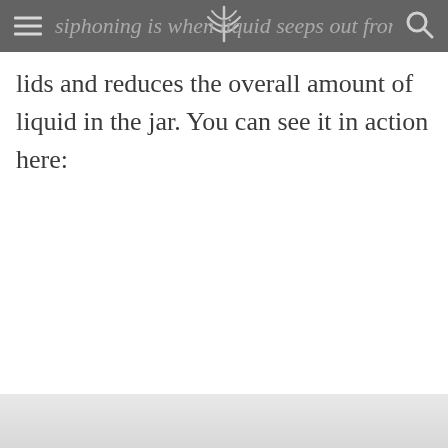siphoning is when liquid seeps out from under the lids
lids and reduces the overall amount of liquid in the jar. You can see it in action here:
[Figure (photo): Bottom portion of a photo showing what appears to be mason jars or canning jars, partially visible at the bottom of the page with a light gray/white toned image]